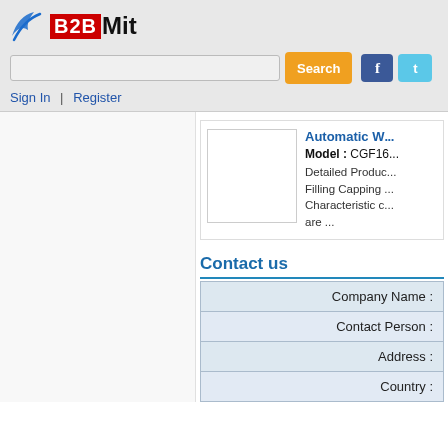[Figure (logo): B2BMit logo with red B2B box and dark Mit text, with a blue bird/swoosh graphic]
[Figure (screenshot): Search input bar with orange Search button, Facebook and Twitter social icons]
Sign In  |  Register
[Figure (photo): White product image placeholder box]
Automatic W...
Model : CGF16...
Detailed Product... Filling Capping ... Characteristic c... are ...
Contact us
| Company Name : |
| Contact Person : |
| Address : |
| Country : |